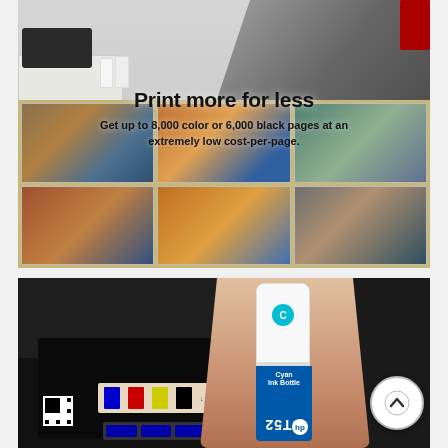[Figure (photo): Marketing photo showing a businessman in a suit arranging printed color photos on a desk. HP printer and ink bottles visible on cabinet in background. Text overlay reads 'Print more for less' with subtitle about page yields.]
Print more for less
Get up to 8,000 color or 6,000 black pages at an extremely low cost-per-page.
[Figure (photo): Close-up photo of a hand inserting an HP GT52 cyan ink bottle into an HP printer. The ink bottle label is visible with cyan color branding.]